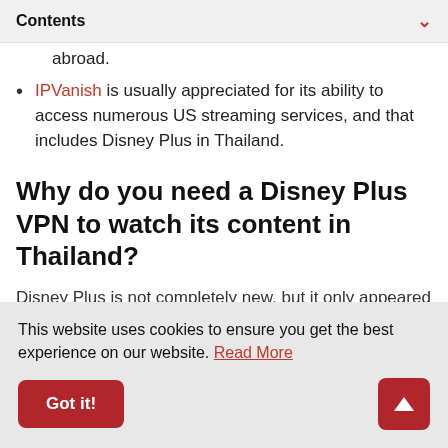Contents
abroad.
IPVanish is usually appreciated for its ability to access numerous US streaming services, and that includes Disney Plus in Thailand.
Why do you need a Disney Plus VPN to watch its content in Thailand?
Disney Plus is not completely new, but it only appeared
This website uses cookies to ensure you get the best experience on our website. Read More
Got it!